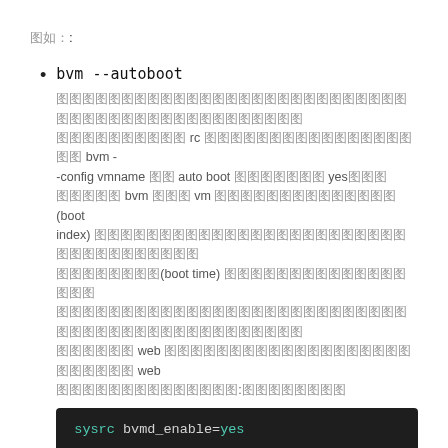例えば:
bvm --autoboot
[Description with CJK characters] rc [CJK] bvm --config vmname [CJK] auto boot [CJK] yes[CJK] [CJK] bvm [CJK] vm [CJK] (boot index) [CJK] (boot time) [CJK] web [CJK] web [CJK]
sysrc bvmd_enable=yes
bvm --abinfo